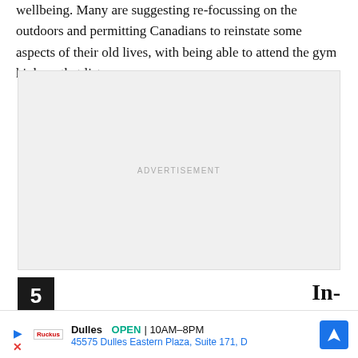wellbeing. Many are suggesting re-focussing on the outdoors and permitting Canadians to reinstate some aspects of their old lives, with being able to attend the gym high on that list.
[Figure (other): Advertisement placeholder box with light gray background and 'ADVERTISEMENT' label in center]
[Figure (other): Bottom banner advertisement for a store in Dulles: OPEN 10AM-8PM, 45575 Dulles Eastern Plaza, Suite 171, D — with navigation arrow icon]
5 In-